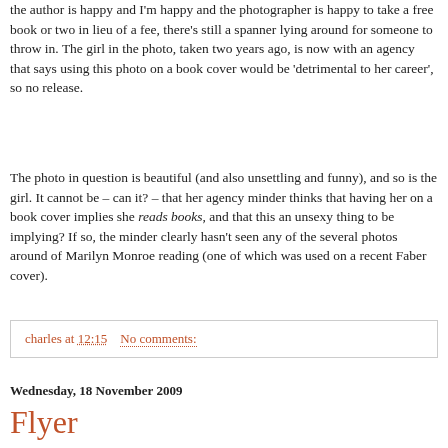the author is happy and I'm happy and the photographer is happy to take a free book or two in lieu of a fee, there's still a spanner lying around for someone to throw in. The girl in the photo, taken two years ago, is now with an agency that says using this photo on a book cover would be 'detrimental to her career', so no release.
The photo in question is beautiful (and also unsettling and funny), and so is the girl. It cannot be – can it? – that her agency minder thinks that having her on a book cover implies she reads books, and that this an unsexy thing to be implying? If so, the minder clearly hasn't seen any of the several photos around of Marilyn Monroe reading (one of which was used on a recent Faber cover).
charles at 12:15    No comments:
Wednesday, 18 November 2009
Flyer